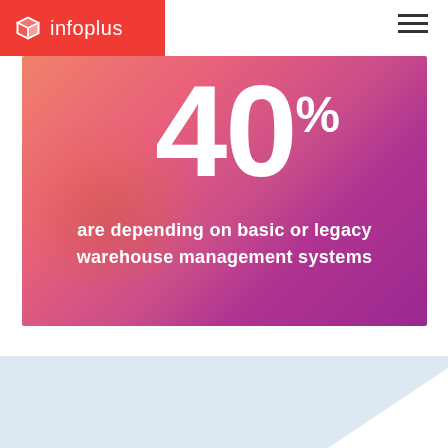[Figure (logo): Infoplus logo — red box with white cube icon and white text 'infoplus']
[Figure (infographic): Watercolor-style gradient background (orange to magenta/purple) with large white '40%' statistic and subtitle text]
40%
are depending on basic or legacy warehouse management systems